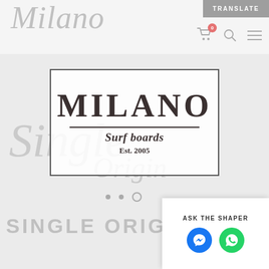Milano — TRANSLATE
[Figure (logo): Milano surfboards brand logo box with MILANO in large serif bold text, a divider line, 'Surf boards' in italic serif, 'Est. 2005', and watermark script text 'Single Origin' behind the box]
SINGLE ORIGI
ASK THE SHAPER